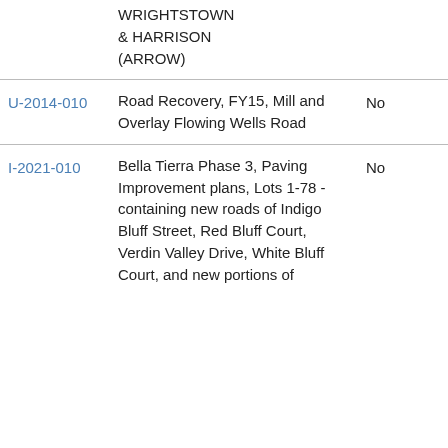| ID | Description | Status |
| --- | --- | --- |
|  | WRIGHTSTOWN & HARRISON (ARROW) |  |
| U-2014-010 | Road Recovery, FY15, Mill and Overlay Flowing Wells Road | No |
| I-2021-010 | Bella Tierra Phase 3, Paving Improvement plans, Lots 1-78 - containing new roads of Indigo Bluff Street, Red Bluff Court, Verdin Valley Drive, White Bluff Court, and new portions of | No |